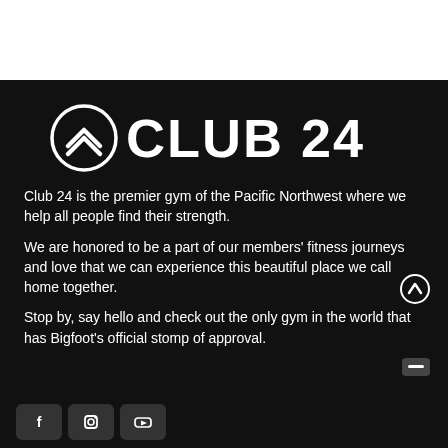[Figure (logo): Club 24 logo: a circular chevron/mountain icon in white on black background, followed by bold white text 'CLUB 24']
Club 24 is the premier gym of the Pacific Northwest where we help all people find their strength.
We are honored to be a part of our members' fitness journeys and love that we can experience this beautiful place we call home together.
Stop by, say hello and check out the only gym in the world that has Bigfoot's official stomp of approval.
[Figure (other): Social media icon buttons: Facebook, Instagram, YouTube (partially visible at bottom)]